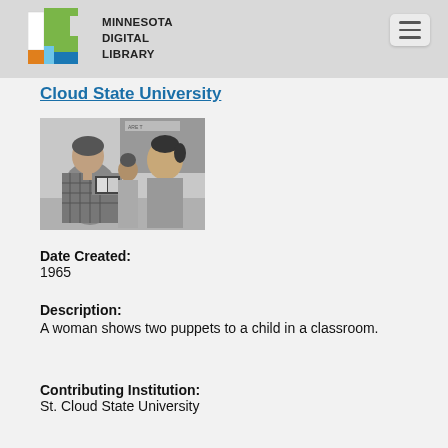Minnesota Digital Library
Cloud State University
[Figure (photo): Black and white photograph of a woman showing two puppets to a child in a classroom setting.]
Date Created:
1965
Description:
A woman shows two puppets to a child in a classroom.
Contributing Institution:
St. Cloud State University